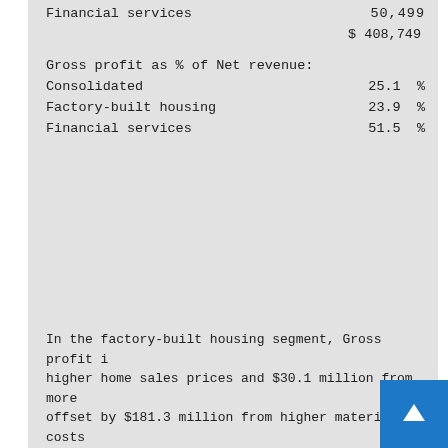| Financial services |  | 50,499 |
|  | $ 408,749 |  |
| Gross profit as % of Net revenue: |  |  |
| Consolidated |  | 25.1 % |
| Factory-built housing |  | 23.9 % |
| Financial services |  | 51.5 % |
In the factory-built housing segment, Gross profit i higher home sales prices and $30.1 million from more offset by $181.3 million from higher material costs segment, Gross profit decreased primarily due to hig lower interest income earned on the acquired consume unrealized gains on marketable equity securities cor period.
32
Contents
Selling, general and administrative expenses.